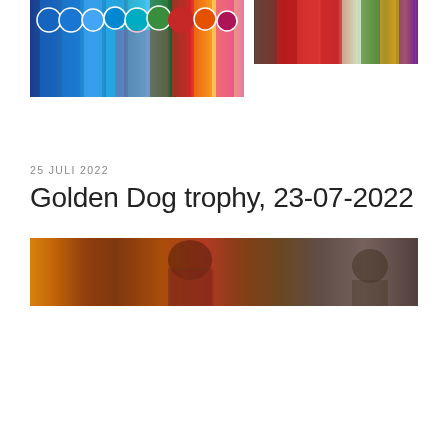[Figure (photo): Photo of colorful dog show rosette ribbons (blue, green, red) hanging together]
[Figure (photo): Photo of dog show ribbons and sashes displayed on a cage]
25 JULI 2022
Golden Dog trophy, 23-07-2022
[Figure (photo): Wide photo of people at a dog show event, warm tones]